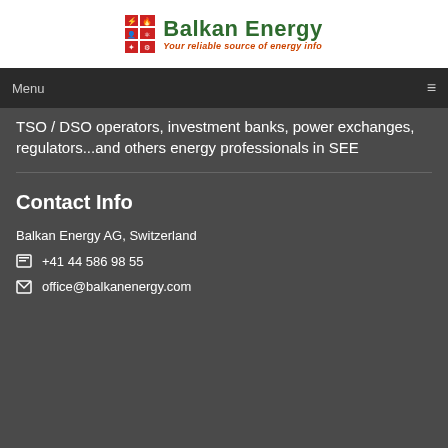[Figure (logo): Balkan Energy logo with red grid icon and green bold text 'Balkan Energy' and red italic tagline 'Your reliable source of energy info']
Menu
TSO / DSO operators, investment banks, power exchanges, regulators...and others energy professionals in SEE
Contact Info
Balkan Energy AG, Switzerland
+41 44 586 98 55
office@balkanenergy.com